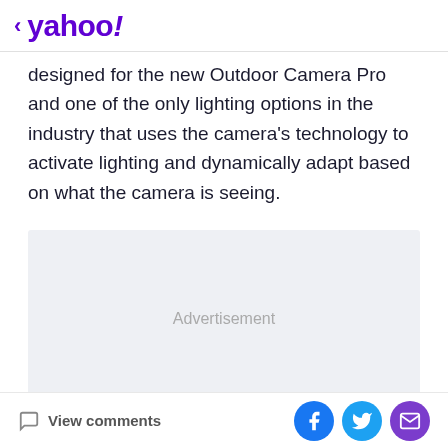< yahoo!
designed for the new Outdoor Camera Pro and one of the only lighting options in the industry that uses the camera's technology to activate lighting and dynamically adapt based on what the camera is seeing.
[Figure (other): Advertisement placeholder box with light gray background]
View comments | Facebook share | Twitter share | Email share